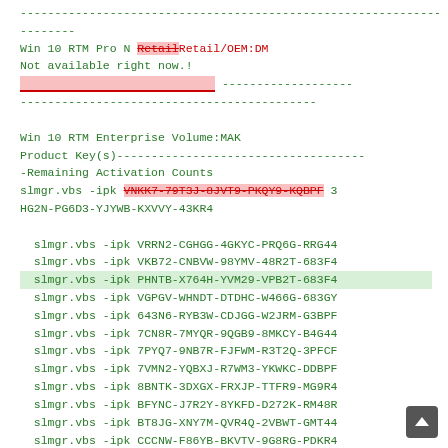------------------------------------------------------------------------
Win 10 RTM Pro N Retail Retail/OEM:DM
Not available right now.!
[red bar] -------------------
-------------------------------------------
Win 10 RTM Enterprise Volume:MAK
Product Key(s)------------------------------------
-Remaining Activation Counts
slmgr.vbs -ipk VNKK7-79T3J-8JVT9-PKQY9-KQBPF 3
HG2N-PG6D3-YJYWB-KXVVY-43KR4
slmgr.vbs -ipk VRRN2-CGHGG-4GKYC-PRQ6G-RRG44
slmgr.vbs -ipk VKB72-CNBVW-98YMV-48R2T-683F4
slmgr.vbs -ipk PHNTB-X764H-YVM29-VPB2T-683F4
slmgr.vbs -ipk VGPGV-WHNDT-DTDHC-W466G-683GY
slmgr.vbs -ipk 643N6-RYB3W-CDJGG-W2JRM-G3BPF
slmgr.vbs -ipk 7CN8R-7MYQR-9QGB9-8MKCY-B4G44
slmgr.vbs -ipk 7PYQ7-9NB7R-FJFWM-R3T2Q-3PFCF
slmgr.vbs -ipk 7VMN2-YQBXJ-R7WM3-YKWKC-DDBPF
slmgr.vbs -ipk 8BNTK-3DXGX-FRXJP-TTFR9-MG9R4
slmgr.vbs -ipk BFYNC-J7R2Y-8YKFD-D272K-RM48R
slmgr.vbs -ipk BT8JG-XNY7M-QVR4Q-2VBWT-GMT44
slmgr.vbs -ipk CCCNW-F86YB-BKVTV-9G8RG-PDKR4